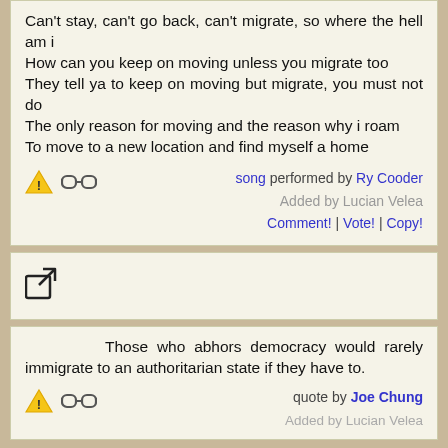Can't stay, can't go back, can't migrate, so where the hell am i
How can you keep on moving unless you migrate too
They tell ya to keep on moving but migrate, you must not do
The only reason for moving and the reason why i roam
To move to a new location and find myself a home
song performed by Ry Cooder
Added by Lucian Velea
Comment! | Vote! | Copy!
[Figure (other): Share icon (box with arrow)]
Those who abhors democracy would rarely immigrate to an authoritarian state if they have to.
quote by Joe Chung
Added by Lucian Velea